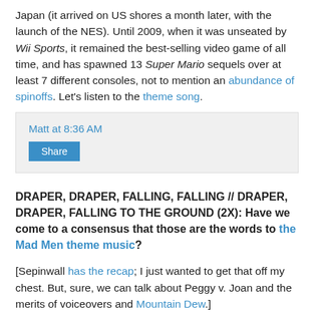Japan (it arrived on US shores a month later, with the launch of the NES). Until 2009, when it was unseated by Wii Sports, it remained the best-selling video game of all time, and has spawned 13 Super Mario sequels over at least 7 different consoles, not to mention an abundance of spinoffs. Let's listen to the theme song.
Matt at 8:36 AM
Share
DRAPER, DRAPER, FALLING, FALLING // DRAPER, DRAPER, FALLING TO THE GROUND (2X): Have we come to a consensus that those are the words to the Mad Men theme music?
[Sepinwall has the recap; I just wanted to get that off my chest. But, sure, we can talk about Peggy v. Joan and the merits of voiceovers and Mountain Dew.]